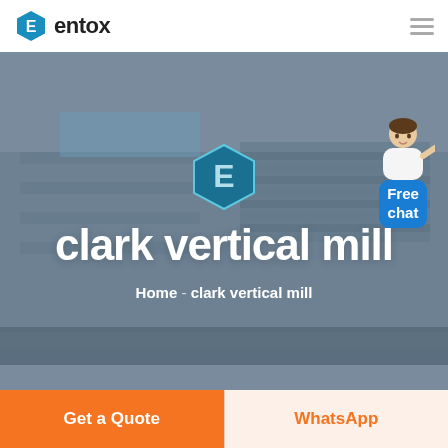entox
[Figure (screenshot): Aerial view of a large industrial factory complex used as hero background image]
[Figure (illustration): Entox hexagonal E logo icon in teal/dark teal color]
clark vertical mill
Home  -  clark vertical mill
[Figure (illustration): Free chat widget with customer service person avatar and blue rounded button labeled 'Free chat']
Get a Quote
WhatsApp